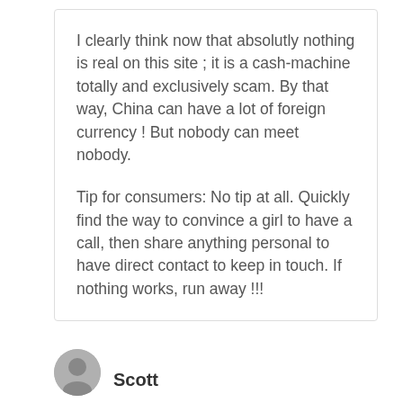I clearly think now that absolutly nothing is real on this site ; it is a cash-machine totally and exclusively scam. By that way, China can have a lot of foreign currency ! But nobody can meet nobody.
Tip for consumers: No tip at all. Quickly find the way to convince a girl to have a call, then share anything personal to have direct contact to keep in touch. If nothing works, run away !!!
Scott